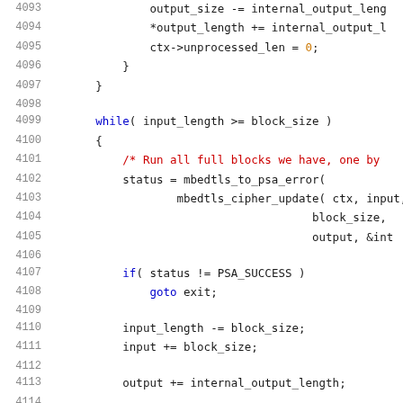[Figure (screenshot): Source code listing in C, lines 4093-4113, showing cipher update logic with while loop, status check, and pointer arithmetic. Syntax highlighted with blue keywords, red comments, orange numbers/special values.]